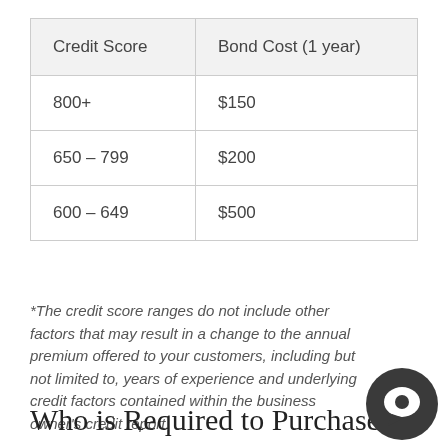| Credit Score | Bond Cost (1 year) |
| --- | --- |
| 800+ | $150 |
| 650 – 799 | $200 |
| 600 – 649 | $500 |
*The credit score ranges do not include other factors that may result in a change to the annual premium offered to your customers, including but not limited to, years of experience and underlying credit factors contained within the business owner's credit report.
Who is Required to Purchase a